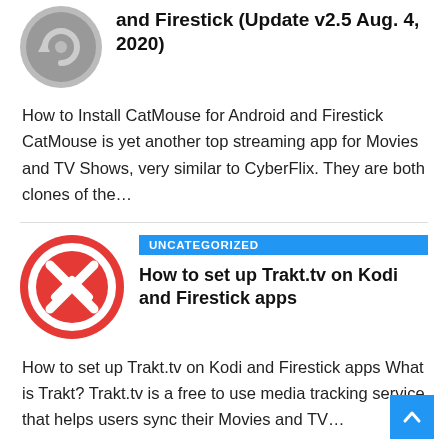[Figure (logo): Gray circular logo with arrow/refresh icon]
and Firestick (Update v2.5 Aug. 4, 2020)
How to Install CatMouse for Android and Firestick CatMouse is yet another top streaming app for Movies and TV Shows, very similar to CyberFlix. They are both clones of the…
[Figure (logo): Red circular logo with X/cross mark icon]
UNCATEGORIZED
How to set up Trakt.tv on Kodi and Firestick apps
How to set up Trakt.tv on Kodi and Firestick apps What is Trakt? Trakt.tv is a free to use media tracking service that helps users sync their Movies and TV…